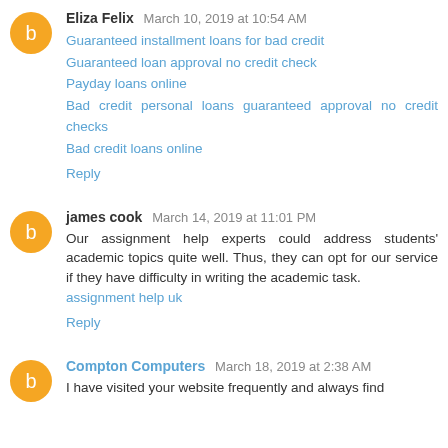Eliza Felix  March 10, 2019 at 10:54 AM
Guaranteed installment loans for bad credit
Guaranteed loan approval no credit check
Payday loans online
Bad credit personal loans guaranteed approval no credit checks
Bad credit loans online
Reply
james cook  March 14, 2019 at 11:01 PM
Our assignment help experts could address students' academic topics quite well. Thus, they can opt for our service if they have difficulty in writing the academic task.
assignment help uk
Reply
Compton Computers  March 18, 2019 at 2:38 AM
I have visited your website frequently and always find